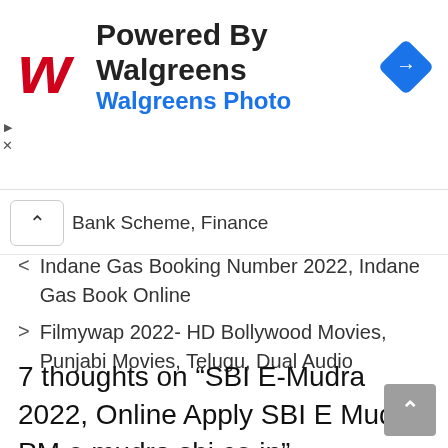[Figure (infographic): Walgreens advertisement banner with red Walgreens logo, text 'Powered By Walgreens' and 'Walgreens Photo' in blue, and a blue navigation diamond icon on the right]
Bank Scheme, Finance
< Indane Gas Booking Number 2022, Indane Gas Book Online
> Filmywap 2022- HD Bollywood Movies, Punjabi Movies, Telugu, Dual Audio
7 thoughts on “SBI E-Mudra 2022, Online Apply SBI E Mudra PM e mudra.sbi.co.in”